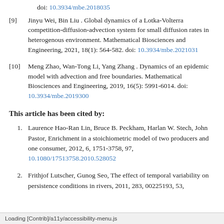doi: 10.3934/mbe.2018035
[9]  Jinyu Wei, Bin Liu . Global dynamics of a Lotka-Volterra competition-diffusion-advection system for small diffusion rates in heterogenous environment. Mathematical Biosciences and Engineering, 2021, 18(1): 564-582. doi: 10.3934/mbe.2021031
[10]  Meng Zhao, Wan-Tong Li, Yang Zhang . Dynamics of an epidemic model with advection and free boundaries. Mathematical Biosciences and Engineering, 2019, 16(5): 5991-6014. doi: 10.3934/mbe.2019300
This article has been cited by:
1. Laurence Hao-Ran Lin, Bruce B. Peckham, Harlan W. Stech, John Pastor, Enrichment in a stoichiometric model of two producers and one consumer, 2012, 6, 1751-3758, 97, 10.1080/17513758.2010.528052
2. Frithjof Lutscher, Gunog Seo, The effect of temporal variability on persistence conditions in rivers, 2011, 283, 00225193, 53,
Loading [Contrib]/a11y/accessibility-menu.js